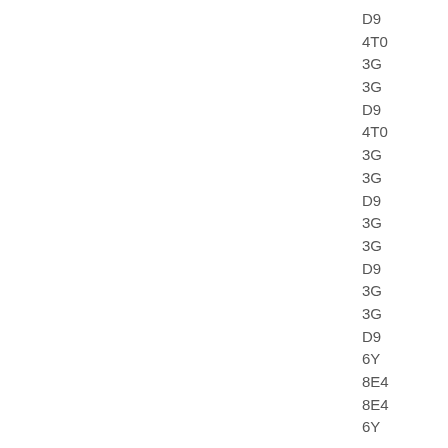D9
4T0
3G
3G
D9
4T0
3G
3G
D9
3G
3G
D9
3G
3G
D9
6Y
8E4
8E4
6Y